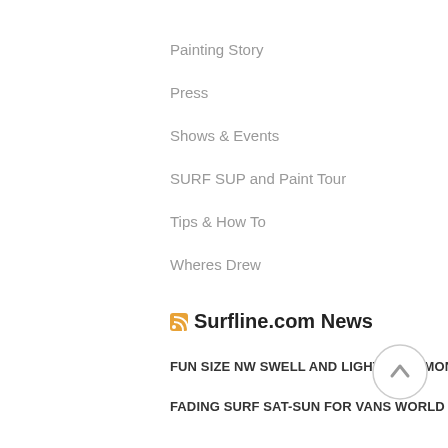Painting Story
Press
Shows & Events
SURF SUP and Paint Tour
Tips & How To
Wheres Drew
Surfline.com News
FUN SIZE NW SWELL AND LIGHT WIND MONDAY FOR THE BILLABONG PIPE MASTERS
FADING SURF SAT-SUN FOR VANS WORLD CUP OF SURFING